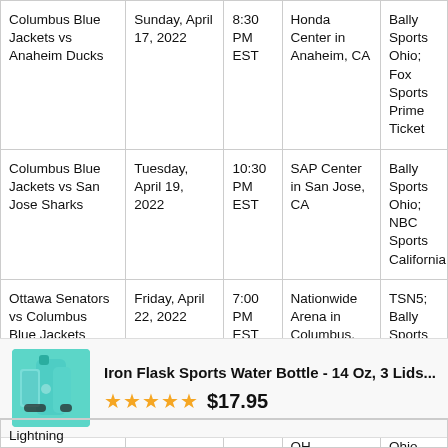| Game | Date | Time | Location | TV |
| --- | --- | --- | --- | --- |
| Columbus Blue Jackets vs Anaheim Ducks | Sunday, April 17, 2022 | 8:30 PM EST | Honda Center in Anaheim, CA | Bally Sports Ohio; Fox Sports Prime Ticket |
| Columbus Blue Jackets vs San Jose Sharks | Tuesday, April 19, 2022 | 10:30 PM EST | SAP Center in San Jose, CA | Bally Sports Ohio; NBC Sports California |
| Ottawa Senators vs Columbus Blue Jackets | Friday, April 22, 2022 | 7:00 PM EST | Nationwide Arena in Columbus, OH | TSN5; Bally Sports Ohio |
| Edmonton Oilers vs Columbus Blue Jackets | Sunday, April 24, 2022 | 1:00 PM EST | Nationwide Arena in Columbus, OH | Sportsnet; Bally Sports Ohio |
[Figure (infographic): Advertisement for Iron Flask Sports Water Bottle - 14 Oz, 3 Lids with 5-star rating and price $17.95]
Lightning